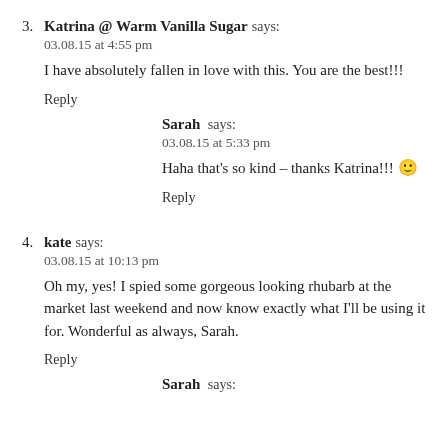3. Katrina @ Warm Vanilla Sugar says:
03.08.15 at 4:55 pm
I have absolutely fallen in love with this. You are the best!!!
Reply
Sarah says:
03.08.15 at 5:33 pm
Haha that's so kind – thanks Katrina!!! 🙂
Reply
4. kate says:
03.08.15 at 10:13 pm
Oh my, yes! I spied some gorgeous looking rhubarb at the market last weekend and now know exactly what I'll be using it for. Wonderful as always, Sarah.
Reply
Sarah says: